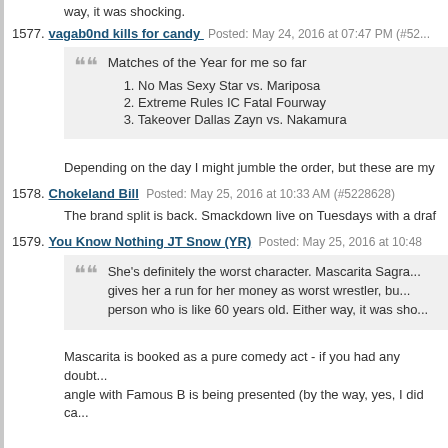way, it was shocking.
1577. vagab0nd kills for candy Posted: May 24, 2016 at 07:47 PM (#52...
Matches of the Year for me so far
1. No Mas Sexy Star vs. Mariposa
2. Extreme Rules IC Fatal Fourway
3. Takeover Dallas Zayn vs. Nakamura
Depending on the day I might jumble the order, but these are my
1578. Chokeland Bill Posted: May 25, 2016 at 10:33 AM (#5228628)
The brand split is back. Smackdown live on Tuesdays with a draf
1579. You Know Nothing JT Snow (YR) Posted: May 25, 2016 at 10:48
She's definitely the worst character. Mascarita Sagra... gives her a run for her money as worst wrestler, bu... person who is like 60 years old. Either way, it was sho...
Mascarita is booked as a pure comedy act - if you had any doubt... angle with Famous B is being presented (by the way, yes, I did ca... that's 423-GET-FAME, there is a message from Famous B and y... one as well).